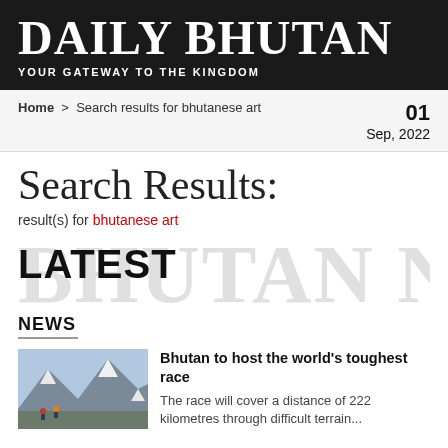DAILY BHUTAN
YOUR GATEWAY TO THE KINGDOM
Home > Search results for bhutanese art
01
Sep, 2022
Search Results:
result(s) for bhutanese art
LATEST
NEWS
[Figure (photo): Mountain landscape with climbers, snow-capped peaks]
Bhutan to host the world's toughest race
The race will cover a distance of 222 kilometres through difficult terrain...